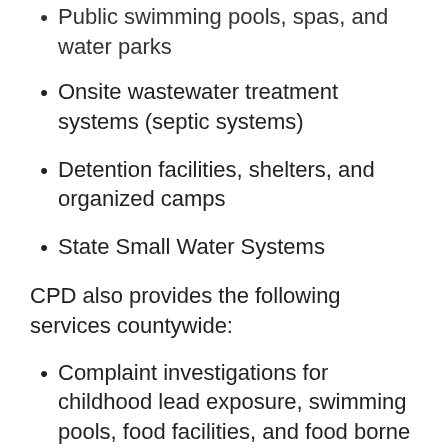Public swimming pools, spas, and water parks
Onsite wastewater treatment systems (septic systems)
Detention facilities, shelters, and organized camps
State Small Water Systems
CPD also provides the following services countywide:
Complaint investigations for childhood lead exposure, swimming pools, food facilities, and food borne illness outbreaks.
Permit and inspect cottage food operators
Advice on Radon, Psittacosis and Mold